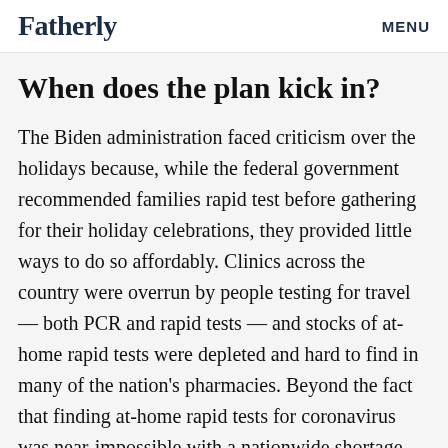Fatherly   MENU
When does the plan kick in?
The Biden administration faced criticism over the holidays because, while the federal government recommended families rapid test before gathering for their holiday celebrations, they provided little ways to do so affordably. Clinics across the country were overrun by people testing for travel — both PCR and rapid tests — and stocks of at-home rapid tests were depleted and hard to find in many of the nation's pharmacies. Beyond the fact that finding at-home rapid tests for coronavirus was near-impossible with a nationwide shortage, the cost was prohibitive...